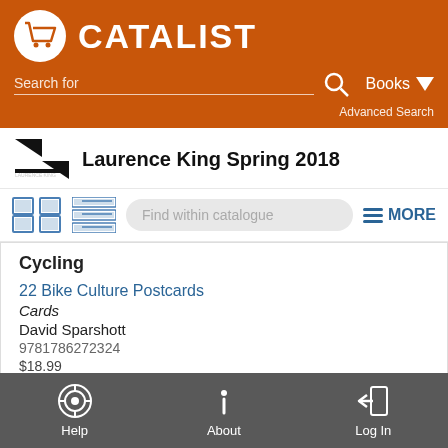[Figure (screenshot): Catalist website header with orange background, cart logo, CATALIST text, search bar, Books dropdown, Advanced Search link]
Laurence King Spring 2018
[Figure (screenshot): Toolbar with grid/list view icons, Find within catalogue search box, and MORE button]
Cycling
22 Bike Culture Postcards
Cards
David Sparshott
9781786272324
$18.99
NON-CLASSIFIABLE
Mar 27, 2018
Help   About   Log In